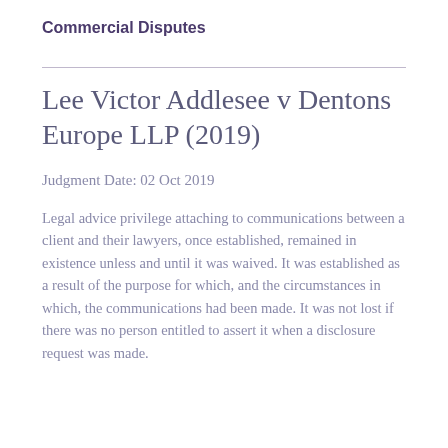Commercial Disputes
Lee Victor Addlesee v Dentons Europe LLP (2019)
Judgment Date: 02 Oct 2019
Legal advice privilege attaching to communications between a client and their lawyers, once established, remained in existence unless and until it was waived. It was established as a result of the purpose for which, and the circumstances in which, the communications had been made. It was not lost if there was no person entitled to assert it when a disclosure request was made.